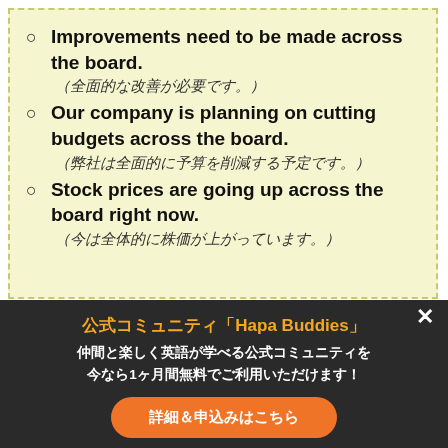Improvements need to be made across the board. （全面的な改善が必要です。）
Our company is planning on cutting budgets across the board. （弊社は全面的に予算を削減する予定です。）
Stock prices are going up across the board right now. （今は全体的に株価が上がっています。）
3) Loo…
look aroundは「周りを見る」を意味する日常表現ですが、特に何か探しているときに使うなど、いろいろと見る・探すといった意味でよく使われます。例えば、財…
公式コミュニティ「Hapa Buddies」
仲間と楽しく英語が学べる公式コミュニティを今なら1ヶ月間無料でご利用いただけます！
詳細＆申込みはこちら